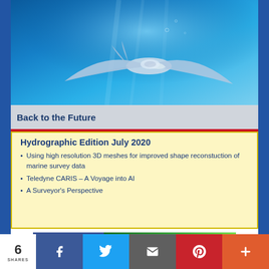[Figure (illustration): Underwater craft/manta ray-like vehicle in blue underwater scene]
Back to the Future
Hydrographic Edition July 2020
Using high resolution 3D meshes for improved shape reconstuction of marine survey data
Teledyne CARIS – A Voyage into AI
A Surveyor's Perspective
[Figure (infographic): Baywei Multibeam advertisement. Left: Baywei logo on dark blue background. Right: multibeam sonar seafloor image with text: Baywei Multibeam Cost Efficient Shallow Water Surveying Learn More]
6 SHARES | Facebook | Twitter | Email | Pinterest | More